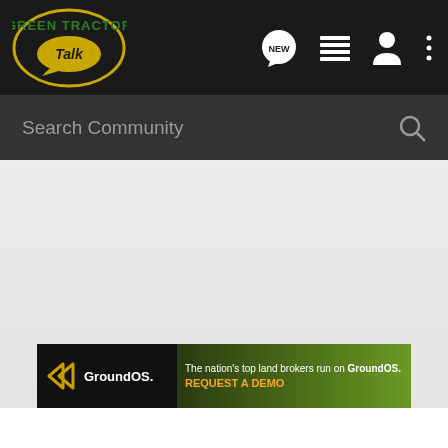[Figure (screenshot): Green Tractor Talk community forum website header with logo, navigation icons, search bar, and GroundOS advertisement banner]
Green Tractor Talk
Search Community
[Figure (illustration): GroundOS advertisement banner: 'The nation's top land brokers run on GroundOS. REQUEST A DEMO']